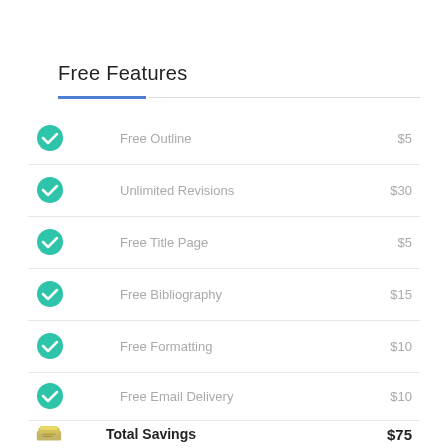Free Features
Free Outline — $5
Unlimited Revisions — $30
Free Title Page — $5
Free Bibliography — $15
Free Formatting — $10
Free Email Delivery — $10
Total Savings $75